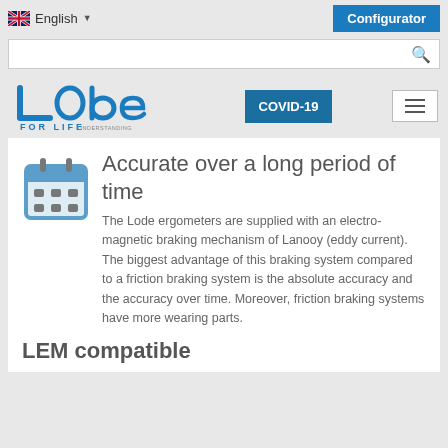English | Configurator
[Figure (logo): Lode FOR LIFE logo with text UNDERSTANDING MOVEMENT & PERFORMANCE]
Accurate over a long period of time
The Lode ergometers are supplied with an electro-magnetic braking mechanism of Lanooy (eddy current). The biggest advantage of this braking system compared to a friction braking system is the absolute accuracy and the accuracy over time. Moreover, friction braking systems have more wearing parts.
LEM compatible